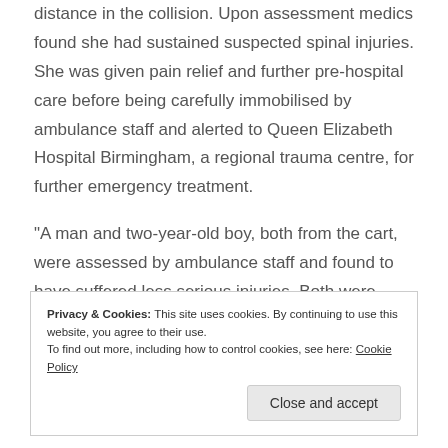distance in the collision. Upon assessment medics found she had sustained suspected spinal injuries. She was given pain relief and further pre-hospital care before being carefully immobilised by ambulance staff and alerted to Queen Elizabeth Hospital Birmingham, a regional trauma centre, for further emergency treatment.
“A man and two-year-old boy, both from the cart, were assessed by ambulance staff and found to have suffered less serious injuries. Both were taken to Walsall Manor Hospital.
Privacy & Cookies: This site uses cookies. By continuing to use this website, you agree to their use. To find out more, including how to control cookies, see here: Cookie Policy